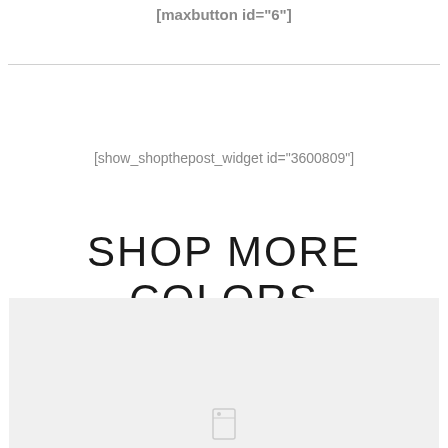[maxbutton id="6"]
[show_shopthepost_widget id="3600809"]
SHOP MORE COLORS
[Figure (photo): Light gray image placeholder with a small icon at the bottom center]